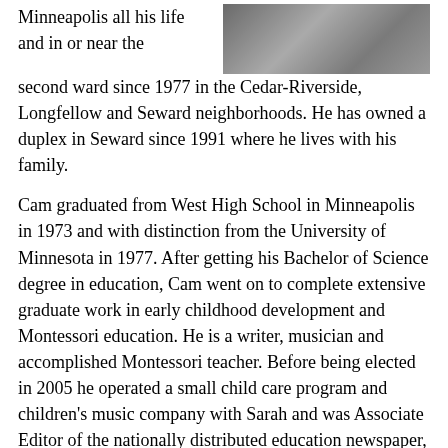[Figure (photo): Partial photo of a person, cropped at top of page, showing clothing and a hand]
Minneapolis all his life and in or near the second ward since 1977 in the Cedar-Riverside, Longfellow and Seward neighborhoods. He has owned a duplex in Seward since 1991 where he lives with his family.
Cam graduated from West High School in Minneapolis in 1973 and with distinction from the University of Minnesota in 1977. After getting his Bachelor of Science degree in education, Cam went on to complete extensive graduate work in early childhood development and Montessori education. He is a writer, musician and accomplished Montessori teacher. Before being elected in 2005 he operated a small child care program and children's music company with Sarah and was Associate Editor of the nationally distributed education newspaper, Public School Montessorian. He is author of Together with Montessori, a guide to help